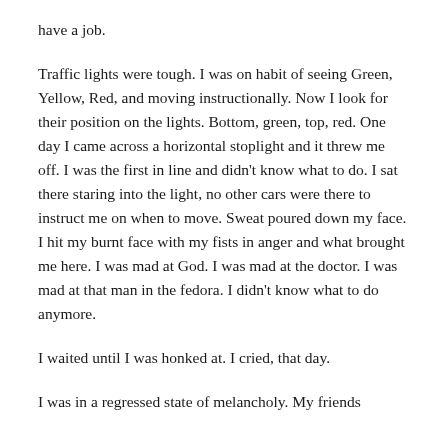have a job.
Traffic lights were tough. I was on habit of seeing Green, Yellow, Red, and moving instructionally. Now I look for their position on the lights. Bottom, green, top, red. One day I came across a horizontal stoplight and it threw me off. I was the first in line and didn't know what to do. I sat there staring into the light, no other cars were there to instruct me on when to move. Sweat poured down my face. I hit my burnt face with my fists in anger and what brought me here. I was mad at God. I was mad at the doctor. I was mad at that man in the fedora. I didn't know what to do anymore.
I waited until I was honked at. I cried, that day.
I was in a regressed state of melancholy. My friends